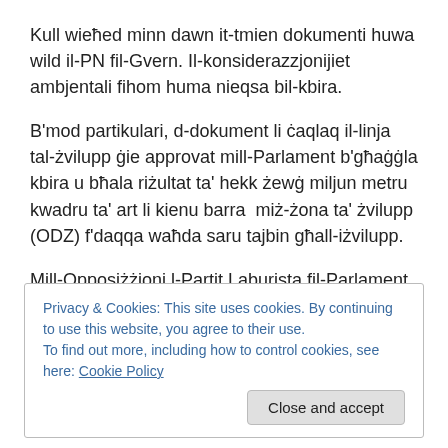Kull wieħed minn dawn it-tmien dokumenti huwa wild il-PN fil-Gvern. Il-konsiderazzjonijiet ambjentali fihom huma nieqsa bil-kbira.
B'mod partikulari, d-dokument li ċaqlaq il-linja tal-żvilupp ġie approvat mill-Parlament b'għaġġla kbira u bħala riżultat ta' hekk żewġ miljun metru kwadru ta' art li kienu barra  miż-żona ta' żvilupp (ODZ) f'daqqa waħda saru tajbin għall-iżvilupp.
Mill-Opposiżżjoni l-Partit Laburista fil-Parlament ivvota
Privacy & Cookies: This site uses cookies. By continuing to use this website, you agree to their use.
To find out more, including how to control cookies, see here: Cookie Policy